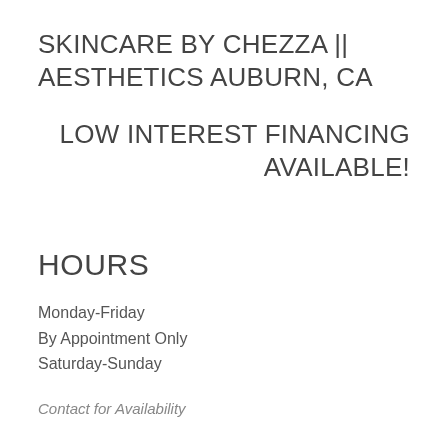SKINCARE BY CHEZZA || AESTHETICS AUBURN, CA
LOW INTEREST FINANCING AVAILABLE!
HOURS
Monday-Friday
By Appointment Only
Saturday-Sunday
Contact for Availability